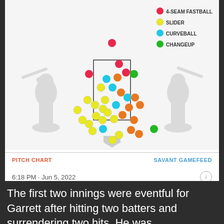[Figure (scatter-plot): Baseball pitch location scatter plot showing pitches by type (4-seam fastball, slider, curveball, changeup) plotted over a strike zone diagram with two batter silhouettes on either side.]
PITCH CHART   SAVANT GAMEFEED
6:18 PM · Jun 5, 2022
14   Reply   Copy link
Explore what's happening on Twitter
The first two innings were eventful for Garrett after hitting two batters and surrendering two hits. He was